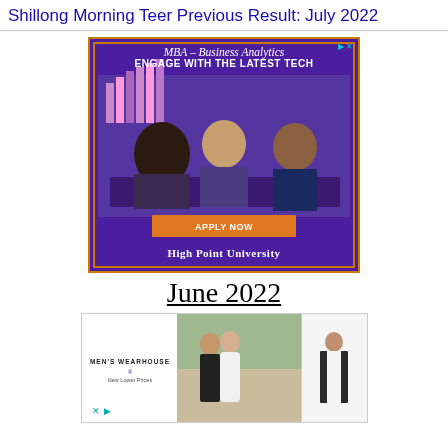Shillong Morning Teer Previous Result: July 2022
[Figure (photo): Advertisement banner for High Point University MBA Business Analytics program with purple background, people in a meeting, orange 'APPLY NOW' button, and orange-bordered frame]
June 2022
[Figure (photo): Advertisement banner for Men's Wearhouse showing couple in formal wear and man in suit, with 'New Lower Prices' tagline]